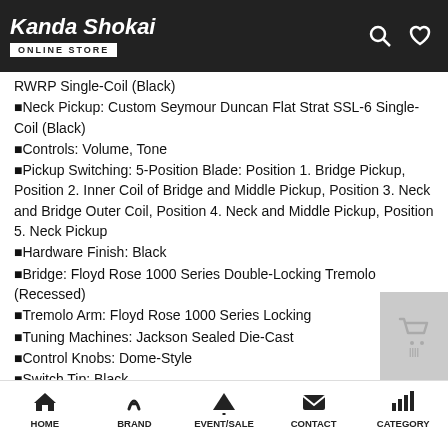Kanda Shokai ONLINE STORE
RWRP Single-Coil (Black)
Neck Pickup: Custom Seymour Duncan Flat Strat SSL-6 Single-Coil (Black)
Controls: Volume, Tone
Pickup Switching: 5-Position Blade: Position 1. Bridge Pickup, Position 2. Inner Coil of Bridge and Middle Pickup, Position 3. Neck and Bridge Outer Coil, Position 4. Neck and Middle Pickup, Position 5. Neck Pickup
Hardware Finish: Black
Bridge: Floyd Rose 1000 Series Double-Locking Tremolo (Recessed)
Tremolo Arm: Floyd Rose 1000 Series Locking
Tuning Machines: Jackson Sealed Die-Cast
Control Knobs: Dome-Style
Switch Tip: Black
Color: Rainbow Crackle
Strings: Nickel Plated Steel (.009-.042 Gauges)
HOME | BRAND | EVENT/SALE | CONTACT | CATEGORY